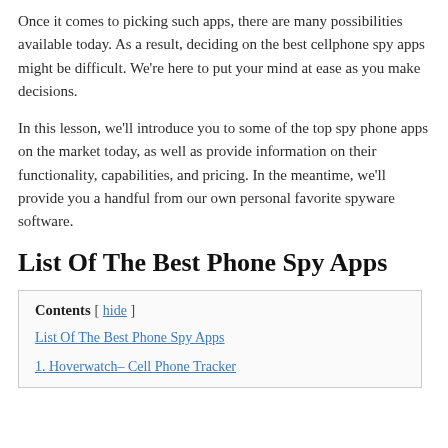Once it comes to picking such apps, there are many possibilities available today. As a result, deciding on the best cellphone spy apps might be difficult. We're here to put your mind at ease as you make decisions.
In this lesson, we'll introduce you to some of the top spy phone apps on the market today, as well as provide information on their functionality, capabilities, and pricing. In the meantime, we'll provide you a handful from our own personal favorite spyware software.
List Of The Best Phone Spy Apps
Contents [ hide ]
List Of The Best Phone Spy Apps
1. Hoverwatch– Cell Phone Tracker